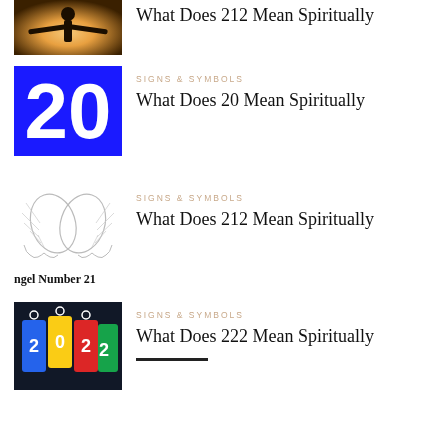[Figure (photo): Person silhouette with arms outstretched against bright light background, partly cropped at top]
What Does 212 Mean Spiritually
[Figure (illustration): Blue square with large white '20' text]
SIGNS & SYMBOLS
What Does 20 Mean Spiritually
[Figure (illustration): Two white angel wings on white background]
SIGNS & SYMBOLS
What Does 212 Mean Spiritually
ngel Number 21
[Figure (photo): Colorful price tags with numbers 2022, dark background]
SIGNS & SYMBOLS
What Does 222 Mean Spiritually